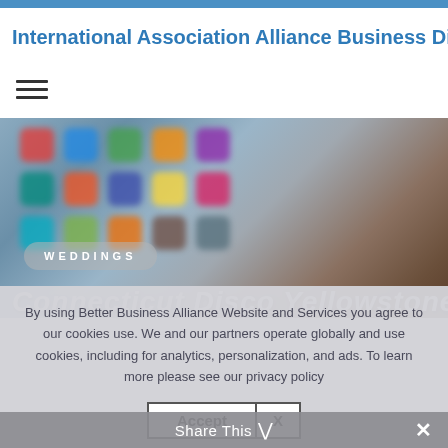International Association Alliance Business Directory
[Figure (screenshot): Hero image showing a blurred smartphone screen with colorful app icons and a book spine on the right, with a 'WEDDINGS' badge overlay and partial text title at the bottom]
By using Better Business Alliance Website and Services you agree to our cookies use. We and our partners operate globally and use cookies, including for analytics, personalization, and ads. To learn more please see our privacy policy
Share This